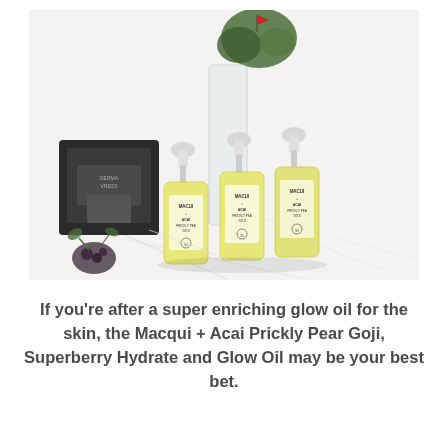[Figure (photo): Three dropper bottles containing yellow Macqui + Acai Prickly Pear Goji Superberry Hydrate and Glow Oil with white dropper caps, arranged on a white marble surface with a black container and green plant in the background.]
If you're after a super enriching glow oil for the skin, the Macqui + Acai Prickly Pear Goji, Superberry Hydrate and Glow Oil may be your best bet.